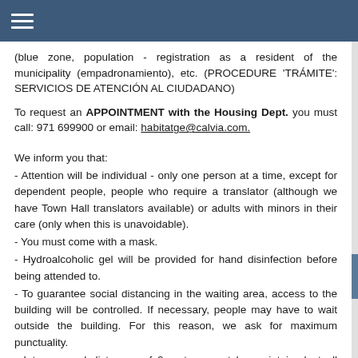≡ (navigation menu icon)
(blue zone, population - registration as a resident of the municipality (empadronamiento), etc. (PROCEDURE 'TRÁMITE': SERVICIOS DE ATENCIÓN AL CIUDADANO)
To request an APPOINTMENT with the Housing Dept. you must call: 971 699900 or email: habitatge@calvia.com.
We inform you that:
- Attention will be individual - only one person at a time, except for dependent people, people who require a translator (although we have Town Hall translators available) or adults with minors in their care (only when this is unavoidable).
- You must come with a mask.
- Hydroalcoholic gel will be provided for hand disinfection before being attended to.
- To guarantee social distancing in the waiting area, access to the building will be controlled. If necessary, people may have to wait outside the building. For this reason, we ask for maximum punctuality.
- Interpersonal distances of 2 metres must be maintained at all times